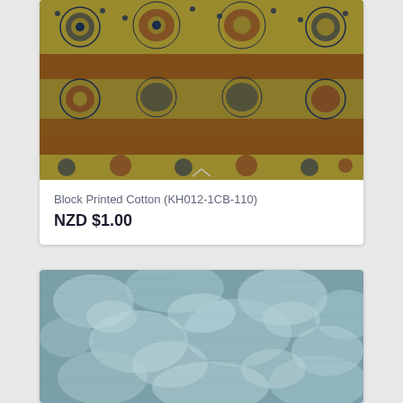[Figure (photo): Block printed cotton fabric with dark navy/maroon geometric and floral medallion pattern on golden-yellow/olive background with rust-brown horizontal stripes]
Block Printed Cotton (KH012-1CB-110)
NZD $1.00
[Figure (photo): Teal/blue-grey tie-dye or batik cotton fabric with lighter cloud-like blotchy pattern on a muted steel-blue background]